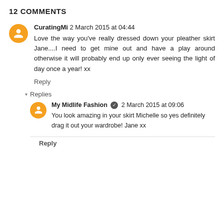12 COMMENTS
CuratingMi 2 March 2015 at 04:44
Love the way you've really dressed down your pleather skirt Jane....I need to get mine out and have a play around otherwise it will probably end up only ever seeing the light of day once a year! xx
Reply
▾ Replies
My Midlife Fashion ✓ 2 March 2015 at 09:06
You look amazing in your skirt Michelle so yes definitely drag it out your wardrobe! Jane xx
Reply